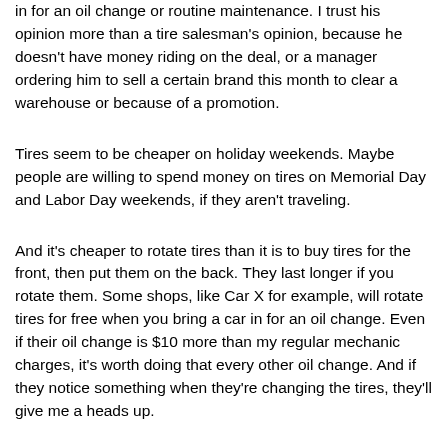in for an oil change or routine maintenance. I trust his opinion more than a tire salesman's opinion, because he doesn't have money riding on the deal, or a manager ordering him to sell a certain brand this month to clear a warehouse or because of a promotion.
Tires seem to be cheaper on holiday weekends. Maybe people are willing to spend money on tires on Memorial Day and Labor Day weekends, if they aren't traveling.
And it's cheaper to rotate tires than it is to buy tires for the front, then put them on the back. They last longer if you rotate them. Some shops, like Car X for example, will rotate tires for free when you bring a car in for an oil change. Even if their oil change is $10 more than my regular mechanic charges, it's worth doing that every other oil change. And if they notice something when they're changing the tires, they'll give me a heads up.